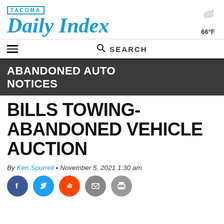TACOMA Daily Index — 66°F
ABANDONED AUTO NOTICES
BILLS TOWING-ABANDONED VEHICLE AUCTION
By Ken Spurrell • November 5, 2021 1:30 am
[Figure (infographic): Social sharing icons: Facebook, Twitter, Reddit, Email, Print]